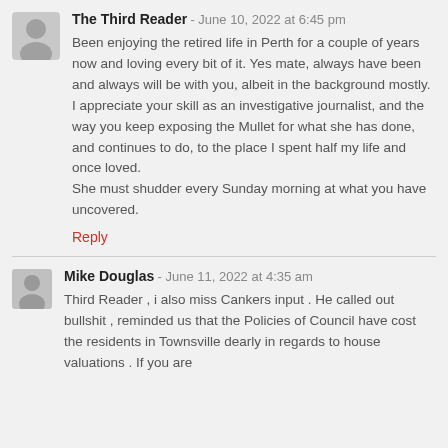The Third Reader - June 10, 2022 at 6:45 pm
Been enjoying the retired life in Perth for a couple of years now and loving every bit of it. Yes mate, always have been and always will be with you, albeit in the background mostly.
I appreciate your skill as an investigative journalist, and the way you keep exposing the Mullet for what she has done, and continues to do, to the place I spent half my life and once loved.
She must shudder every Sunday morning at what you have uncovered.
Reply
Mike Douglas - June 11, 2022 at 4:35 am
Third Reader , i also miss Cankers input . He called out bullshit , reminded us that the Policies of Council have cost the residents in Townsville dearly in regards to house valuations . If you are